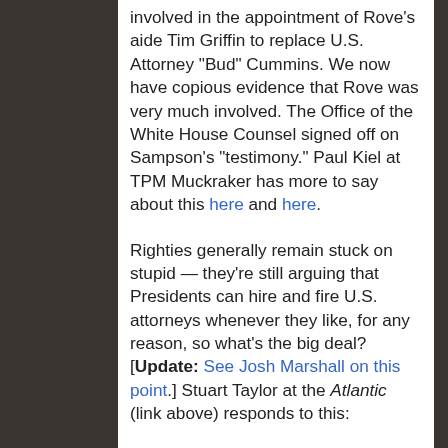involved in the appointment of Rove’s aide Tim Griffin to replace U.S. Attorney “Bud” Cummins. We now have copious evidence that Rove was very much involved. The Office of the White House Counsel signed off on Sampson’s “testimony.” Paul Kiel at TPM Muckraker has more to say about this here and here.
Righties generally remain stuck on stupid — they’re still arguing that Presidents can hire and fire U.S. attorneys whenever they like, for any reason, so what’s the big deal? [Update: See Josh Marshall on this point.] Stuart Taylor at the Atlantic (link above) responds to this:
As for the U.S. attorneys, there is a world of difference between firing such a political appointee for 1) being a Democrat; 2) failing to